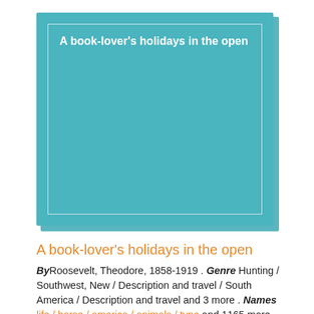[Figure (illustration): Teal/turquoise book cover with white inner border rectangle and title text 'A book-lover's holidays in the open' in white bold font at top left]
A book-lover's holidays in the open
By Roosevelt, Theodore, 1858-1919 . Genre Hunting / Southwest, New / Description and travel / South America / Description and travel and 3 more . Names life / horse / america / animals / type and 1165 more